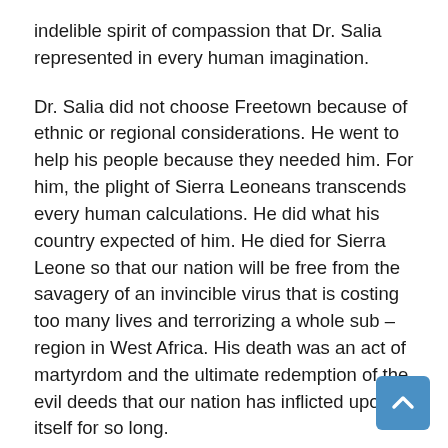indelible spirit of compassion that Dr. Salia represented in every human imagination.
Dr. Salia did not choose Freetown because of ethnic or regional considerations. He went to help his people because they needed him. For him, the plight of Sierra Leoneans transcends every human calculations. He did what his country expected of him. He died for Sierra Leone so that our nation will be free from the savagery of an invincible virus that is costing too many lives and terrorizing a whole sub – region in West Africa. His death was an act of martyrdom and the ultimate redemption of the evil deeds that our nation has inflicted upon itself for so long.
Like Dr. Umar Khan, Dr. Modupe Cole, Dr. Rogers, Dr. Olivette Burke and Dr. Godfrey George, Dr. Salia did not run away from the sinister chapter of the untold human suffering that our people are going through. He traded the fanfare and his comfortable life in America leaving behind his beautiful and wonderful family to spread the gospel of love and compassion